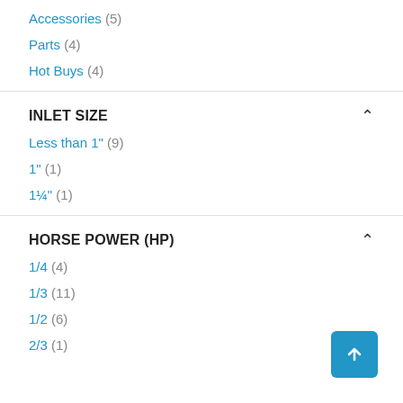Accessories (5)
Parts (4)
Hot Buys (4)
INLET SIZE
Less than 1" (9)
1" (1)
1¼" (1)
HORSE POWER (HP)
1/4 (4)
1/3 (11)
1/2 (6)
2/3 (1)